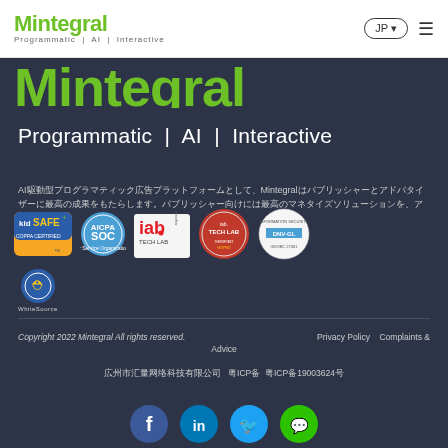Mintegral Programmatic | AI | Interactive JP ☰
[Figure (logo): Mintegral logo partially visible in green large text]
Programmatic | AI | Interactive
AI駆動型プログラマティック広告プラットフォームとして、Mintegralはパブリッシャーとアドバタイザーに最高の成果をもたらします。
[Figure (other): Certification badges: kidSAFE COPPA Certified, AICPA SOC, IAB Tech Lab member, IAB Tech Lab, DNV-GL ISO/IEC 27001, WhiteSource]
Copyright 2022 Mintegral All rights reserved.   Privacy Policy   Complaints & Advice
広州市汇量网络科技有限公司  粤ICP备 粤ICP备19003624号
[Figure (other): Social media icons: Facebook, LinkedIn, Twitter, WeChat]